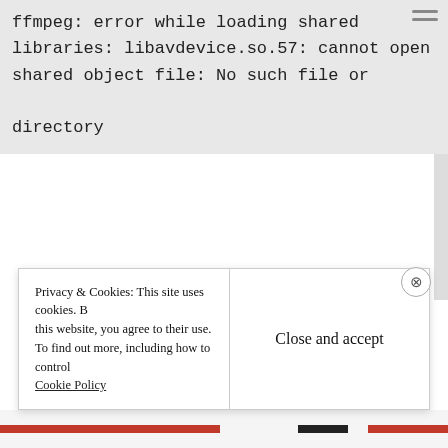ffmpeg: error while loading shared libraries: libavdevice.so.57: cannot open shared object file: No such file or directory
On some builds the ffmpeg command may run correctly, but the error may be triggered when a parameter is passed, for example to query the codecs available within the ffmpeg installation:
Privacy & Cookies: This site uses cookies. By continuing to use this website, you agree to their use. To find out more, including how to control cookies, see here: Cookie Policy
Close and accept